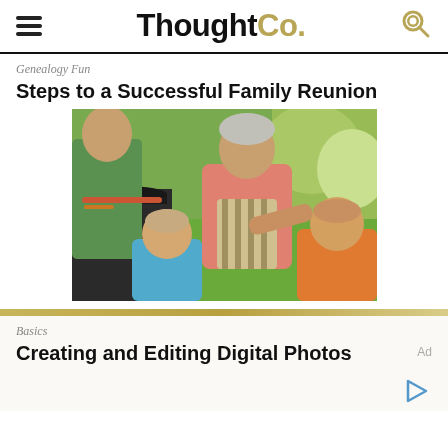ThoughtCo.
Genealogy Fun
Steps to a Successful Family Reunion
[Figure (photo): An older man in a pink shirt and striped apron grilling outdoors with two young children watching, green lawn and flowers in background.]
Basics
Creating and Editing Digital Photos